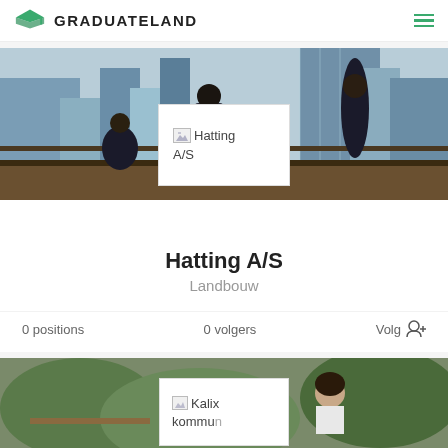GRADUATELAND
[Figure (screenshot): Business professionals photo with city skyline background, Hatting A/S logo overlay]
Hatting A/S
Landbouw
0 positions   0 volgers   Volg
[Figure (screenshot): Two people in a garden/outdoor setting, Kalix kommun logo overlay (partially visible)]